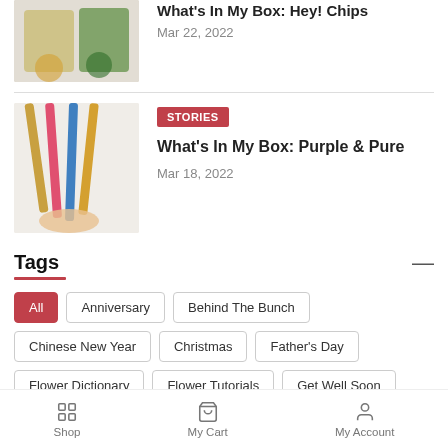[Figure (photo): Partial photo of snack chips product with colorful packaging]
What's In My Box: Hey! Chips
Mar 22, 2022
[Figure (photo): Photo of colorful pencils or straws being held by a hand]
STORIES
What's In My Box: Purple & Pure
Mar 18, 2022
Tags
All
Anniversary
Behind The Bunch
Chinese New Year
Christmas
Father's Day
Flower Dictionary
Flower Tutorials
Get Well Soon
Gift Guides
Happy Activities
Happy Stories
Shop   My Cart   My Account